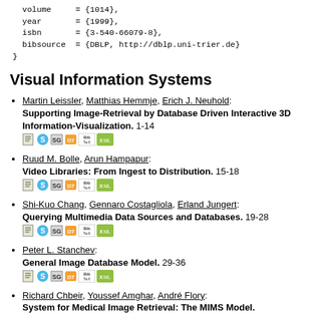volume     = {1014},
  year        = {1999},
  isbn        = {3-540-66079-8},
  bibsource   = {DBLP, http://dblp.uni-trier.de}
}
Visual Information Systems
Martin Leissler, Matthias Hemmje, Erich J. Neuhold: Supporting Image-Retrieval by Database Driven Interactive 3D Information-Visualization. 1-14
Ruud M. Bolle, Arun Hampapur: Video Libraries: From Ingest to Distribution. 15-18
Shi-Kuo Chang, Gennaro Costagliola, Erland Jungert: Querying Multimedia Data Sources and Databases. 19-28
Peter L. Stanchev: General Image Database Model. 29-36
Richard Chbeir, Youssef Amghar, André Flory: System for Medical Image Retrieval: The MIMS Model. 37-42